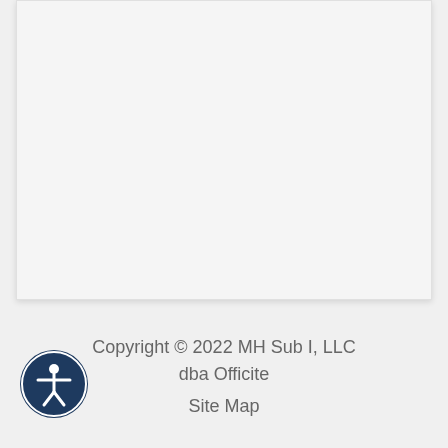[Figure (other): Large light gray content area box occupying the upper portion of the page]
Copyright © 2022 MH Sub I, LLC dba Officite
[Figure (illustration): Circular accessibility icon with dark navy blue background showing a white figure with arms outstretched (universal accessibility symbol)]
Site Map